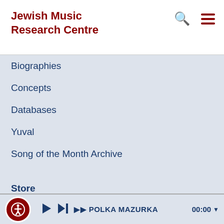Jewish Music Research Centre
Biographies
Concepts
Databases
Yuval
Song of the Month Archive
Store
Audio & CD's
Books
JMRC Contact Details
POB 39105
Jerusalem, Israel 91390
2-6585059
POLKA MAZURKA  00:00